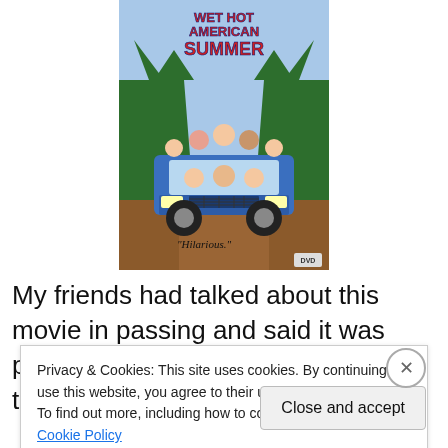[Figure (illustration): DVD cover of 'Wet Hot American Summer' showing a cartoon illustration of camp counselors crowded in and around a blue car driving through a forest, with the text 'Hilarious.' quoted and DVD logo in the corner]
My friends had talked about this movie in passing and said it was pretty damn funny. From the title, I thought it was
Privacy & Cookies: This site uses cookies. By continuing to use this website, you agree to their use.
To find out more, including how to control cookies, see here: Cookie Policy
Close and accept